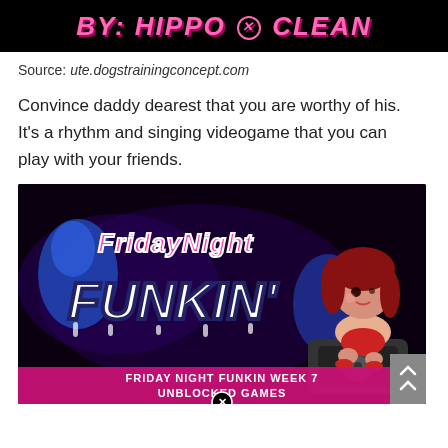[Figure (other): Black banner with pink italic bold text reading: BY: HIPPO & CLEAN with a circled X icon between the ampersand]
Source: ute.dogstrainingconcept.com
Convince daddy dearest that you are worthy of his. It's a rhythm and singing videogame that you can play with your friends.
[Figure (screenshot): Friday Night Funkin Week 7 Unblocked Games promotional image on black background showing the game logo in pink and white graffiti style lettering with a cartoon girl character with red hair sitting on a speaker. Bottom text reads FRIDAY NIGHT FUNKIN WEEK 7 UNBLOCKED GAMES in pink bold font.]